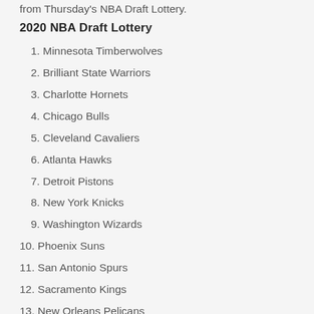from Thursday's NBA Draft Lottery.
2020 NBA Draft Lottery
1. Minnesota Timberwolves
2. Brilliant State Warriors
3. Charlotte Hornets
4. Chicago Bulls
5. Cleveland Cavaliers
6. Atlanta Hawks
7. Detroit Pistons
8. New York Knicks
9. Washington Wizards
10. Phoenix Suns
11. San Antonio Spurs
12. Sacramento Kings
13. New Orleans Pelicans